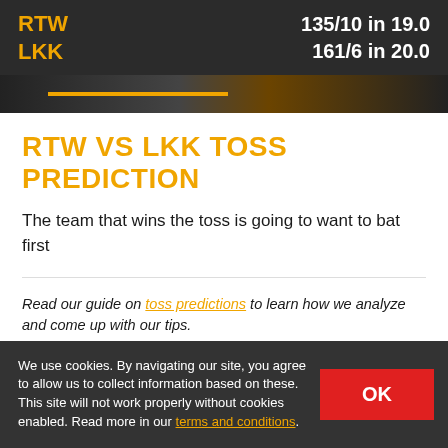RTW
LKK
135/10 in 19.0
161/6 in 20.0
[Figure (photo): Hero banner image showing cricket-related imagery with an orange progress/highlight bar overlay]
RTW VS LKK TOSS PREDICTION
The team that wins the toss is going to want to bat first
Read our guide on toss predictions to learn how we analyze and come up with our tips.
We use cookies. By navigating our site, you agree to allow us to collect information based on these. This site will not work properly without cookies enabled. Read more in our terms and conditions.